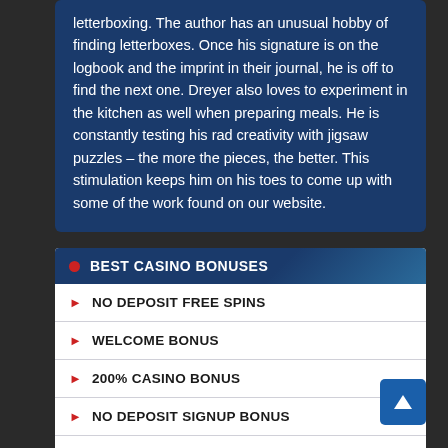letterboxing. The author has an unusual hobby of finding letterboxes. Once his signature is on the logbook and the imprint in their journal, he is off to find the next one. Dreyer also loves to experiment in the kitchen as well when preparing meals. He is constantly testing his rad creativity with jigsaw puzzles – the more the pieces, the better. This stimulation keeps him on his toes to come up with some of the work found on our website.
BEST CASINO BONUSES
NO DEPOSIT FREE SPINS
WELCOME BONUS
200% CASINO BONUS
NO DEPOSIT SIGNUP BONUS
$300 FREE CHIP